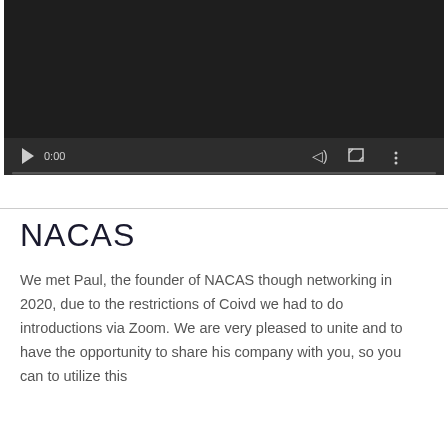[Figure (screenshot): Video player with dark background, showing play button, timestamp 0:00, volume icon, fullscreen icon, and options icon, with a progress bar at the bottom]
NACAS
We met Paul, the founder of NACAS though networking in 2020, due to the restrictions of Coivd we had to do introductions via Zoom. We are very pleased to unite and to have the opportunity to share his company with you, so you can to utilize this